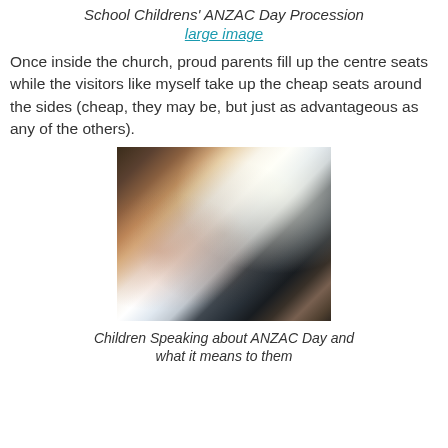School Childrens' ANZAC Day Procession
large image
Once inside the church, proud parents fill up the centre seats while the visitors like myself take up the cheap seats around the sides (cheap, they may be, but just as advantageous as any of the others).
[Figure (photo): Interior church scene showing children and equipment, taken from a side angle. Candles, decorations, and architectural features visible.]
Children Speaking about ANZAC Day and what it means to them